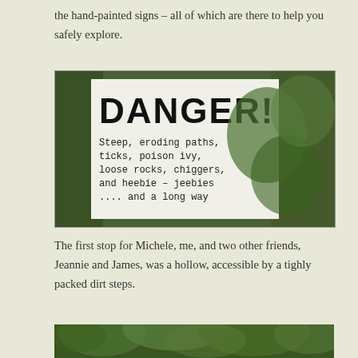the hand-painted signs – all of which are there to help you safely explore.
[Figure (photo): A hand-painted warning sign reading 'DANGER! Steep, eroding paths, ticks, poison ivy, loose rocks, chiggers, and heebie-jeebies.... and a long way' surrounded by green foliage.]
The first stop for Michele, me, and two other friends, Jeannie and James, was a hollow, accessible by a tighly packed dirt steps.
[Figure (photo): Bottom portion of a photo showing green tree canopy from below.]